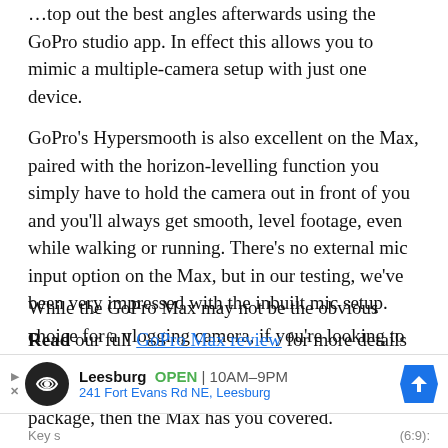…top out the best angles afterwards using the GoPro studio app. In effect this allows you to mimic a multiple-camera setup with just one device.
GoPro's Hypersmooth is also excellent on the Max, paired with the horizon-levelling function you simply have to hold the camera out in front of you and you'll always get smooth, level footage, even while walking or running. There's no external mic input option on the Max, but in our testing, we've been very impressed with the inbuilt mic setup.
While the GoPro Max may not be the obvious choice for a vlogging camera, if you're looking to push your creative limits, want to create striking B-roll, and need it all wrapped up in a durable package, then the Max has you covered.
Read our full GoPro Max review for more details
[Figure (infographic): Advertisement banner for Leesburg store showing logo, OPEN status, hours 10AM-9PM, address 241 Fort Evans Rd NE Leesburg, and a blue direction arrow icon]
Key s
(6:9):